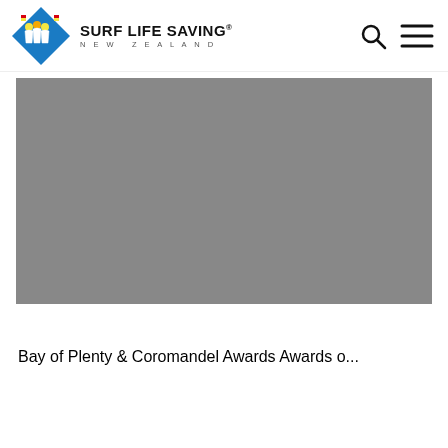SURF LIFE SAVING NEW ZEALAND
[Figure (photo): Gray placeholder image for a Surf Life Saving New Zealand article about Bay of Plenty & Coromandel Awards]
Bay of Plenty & Coromandel Awards Awards o...